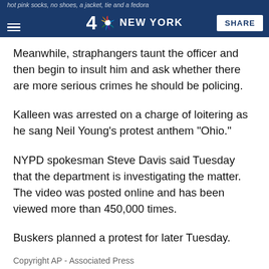hot pink socks, no shoes, a jacket, tie and a fedora — NBC 4 NEW YORK — SHARE
Meanwhile, straphangers taunt the officer and then begin to insult him and ask whether there are more serious crimes he should be policing.
Kalleen was arrested on a charge of loitering as he sang Neil Young's protest anthem "Ohio."
NYPD spokesman Steve Davis said Tuesday that the department is investigating the matter. The video was posted online and has been viewed more than 450,000 times.
Buskers planned a protest for later Tuesday.
Copyright AP - Associated Press